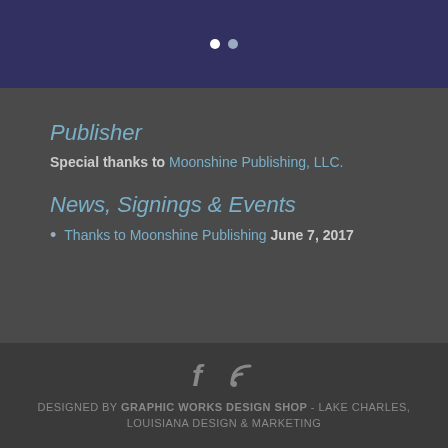[Figure (other): Dark navy banner with two pagination dots (white and gray)]
Publisher
Special thanks to Moonshine Publishing, LLC.
News, Signings & Events
Thanks to Moonshine Publishing June 7, 2017
DESIGNED BY GRAPHIC WORKS DESIGN SHOP - LAKE CHARLES, LOUISIANA DESIGN & MARKETING